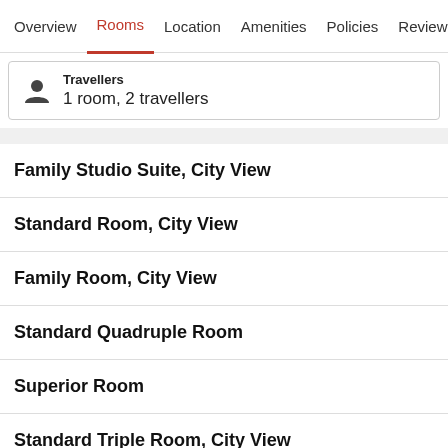Overview | Rooms | Location | Amenities | Policies | Reviews
Travellers
1 room, 2 travellers
Family Studio Suite, City View
Standard Room, City View
Family Room, City View
Standard Quadruple Room
Superior Room
Standard Triple Room, City View
About this area